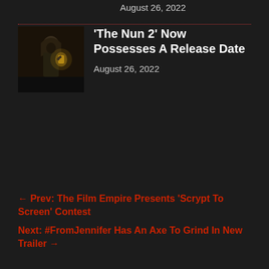August 26, 2022
[Figure (photo): Thumbnail image for The Nun 2 article showing a figure in dark setting holding a lantern]
'The Nun 2' Now Possesses A Release Date
August 26, 2022
← Prev: The Film Empire Presents 'Scrypt To Screen' Contest
Next: #FromJennifer Has An Axe To Grind In New Trailer →